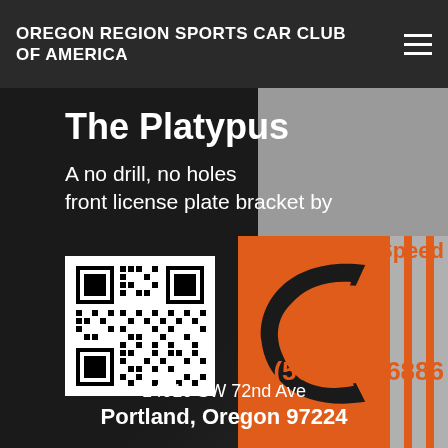OREGON REGION SPORTS CAR CLUB OF AMERICA
The Platypus
A no drill, no holes front license plate bracket by
[Figure (logo): CravenSpeed logo: orange rectangle with large C mark and gray vertical stripes on right side, with CravenSpeed text in orange above]
[Figure (other): QR code black and white square barcode]
(503)505-6886
14010 SW 72nd Ave
Portland, Oregon 97224